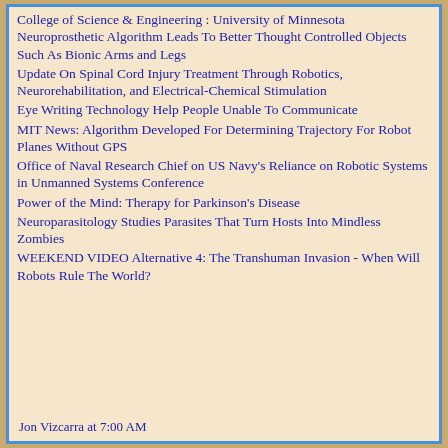College of Science & Engineering : University of Minnesota Neuroprosthetic Algorithm Leads To Better Thought Controlled Objects Such As Bionic Arms and Legs
Update On Spinal Cord Injury Treatment Through Robotics, Neurorehabilitation, and Electrical-Chemical Stimulation
Eye Writing Technology Help People Unable To Communicate
MIT News: Algorithm Developed For Determining Trajectory For Robot Planes Without GPS
Office of Naval Research Chief on US Navy's Reliance on Robotic Systems in Unmanned Systems Conference
Power of the Mind: Therapy for Parkinson's Disease
Neuroparasitology Studies Parasites That Turn Hosts Into Mindless Zombies
WEEKEND VIDEO Alternative 4: The Transhuman Invasion - When Will Robots Rule The World?
Jon Vizcarra at 7:00 AM